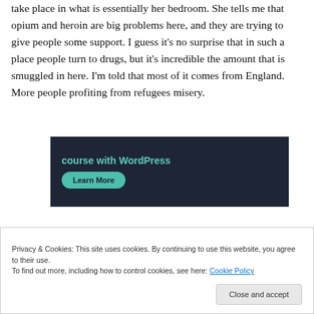take place in what is essentially her bedroom. She tells me that opium and heroin are big problems here, and they are trying to give people some support. I guess it's no surprise that in such a place people turn to drugs, but it's incredible the amount that is smuggled in here. I'm told that most of it comes from England. More people profiting from refugees misery.
[Figure (screenshot): Dark-background advertisement banner with teal text 'course with WordPress' and a teal 'Learn More' button]
Privacy & Cookies: This site uses cookies. By continuing to use this website, you agree to their use.
To find out more, including how to control cookies, see here: Cookie Policy
Close and accept